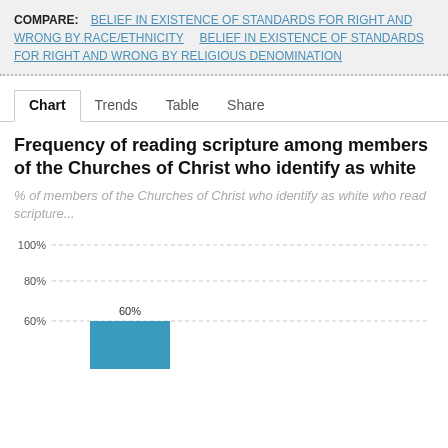COMPARE: BELIEF IN EXISTENCE OF STANDARDS FOR RIGHT AND WRONG BY RACE/ETHNICITY   BELIEF IN EXISTENCE OF STANDARDS FOR RIGHT AND WRONG BY RELIGIOUS DENOMINATION
Chart   Trends   Table   Share
Frequency of reading scripture among members of the Churches of Christ who identify as white
% of members of the Churches of Christ who identify as white who read scripture...
[Figure (bar-chart): Frequency of reading scripture among members of the Churches of Christ who identify as white]